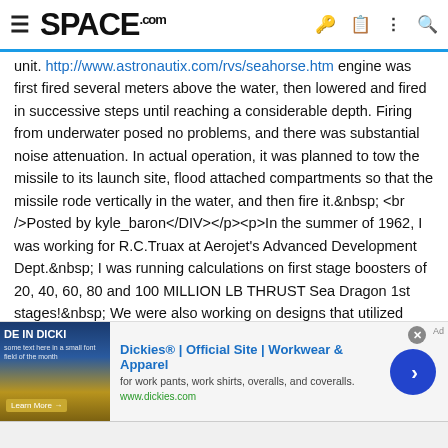SPACE.com
unit. http://www.astronautix.com/rvs/seahorse.htm The engine was first fired several meters above the water, then lowered and fired in successive steps until reaching a considerable depth. Firing from underwater posed no problems, and there was substantial noise attenuation. In actual operation, it was planned to tow the missile to its launch site, flood attached compartments so that the missile rode vertically in the water, and then fire it.  <br />Posted by kyle_baron</DIV></p><p>In the summer of 1962, I was working for R.C.Truax at Aerojet’s Advanced Development Dept.  I was running calculations on first stage boosters of 20, 40, 60, 80 and 100 MILLION LB THRUST Sea Dragon 1st stages!  We were also working on designs that utilized self-pressurizing boosters, utilizing hypergolic propellants that were liquid under their own vapor pressures.  All you had to do was open the valves at the bottom of the tanks, the liquid boiled at the top of the liquid colum
[Figure (screenshot): Dickies advertisement banner: Dickies® | Official Site | Workwear & Apparel, for work pants, work shirts, overalls, and coveralls. www.dickies.com]